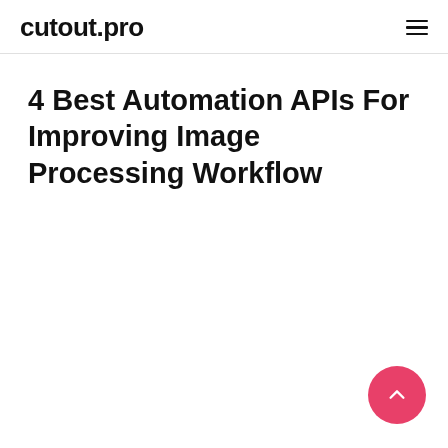cutout.pro
4 Best Automation APIs For Improving Image Processing Workflow